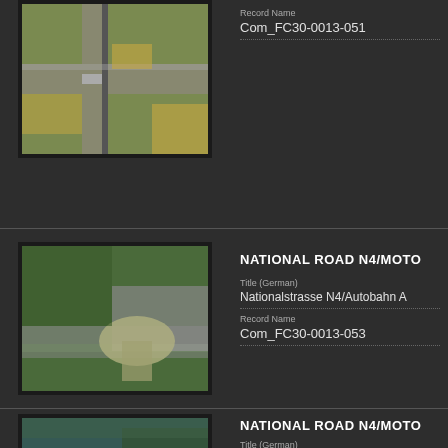[Figure (photo): Aerial photo of highway interchange and surrounding fields]
Record Name
Com_FC30-0013-051
NATIONAL ROAD N4/MOTO
Title (German)
Nationalstrasse N4/Autobahn A
Record Name
Com_FC30-0013-053
[Figure (photo): Aerial photo of highway interchange with large circular structure and multiple lanes]
NATIONAL ROAD N4/MOTO
Title (German)
Nationalstrasse N4/Autobahn A
[Figure (photo): Aerial photo of road infrastructure near water and terrain]